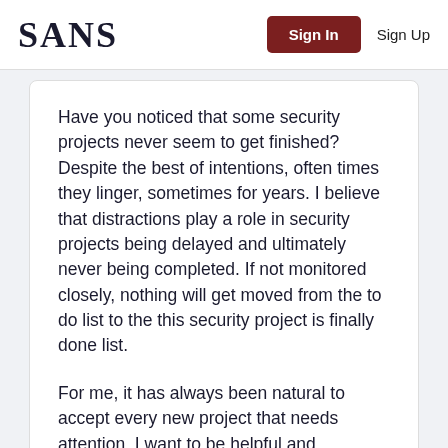SANS | Sign In | Sign Up
Have you noticed that some security projects never seem to get finished? Despite the best of intentions, often times they linger, sometimes for years. I believe that distractions play a role in security projects being delayed and ultimately never being completed. If not monitored closely, nothing will get moved from the to do list to the this security project is finally done list.
For me, it has always been natural to accept every new project that needs attention. I want to be helpful and perceived as a good team player and I